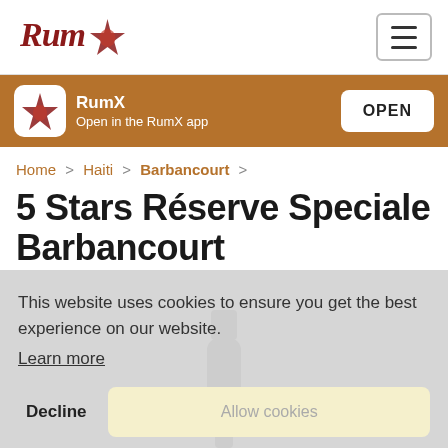RumX — hamburger menu nav bar
[Figure (logo): RumX logo with stylized rum bottle and text 'Rum' in cursive with a star/rum icon]
RumX
Open in the RumX app
OPEN
Home > Haiti > Barbancourt >
5 Stars Réserve Speciale Barbancourt
This website uses cookies to ensure you get the best experience on our website.
Learn more
Decline
Allow cookies